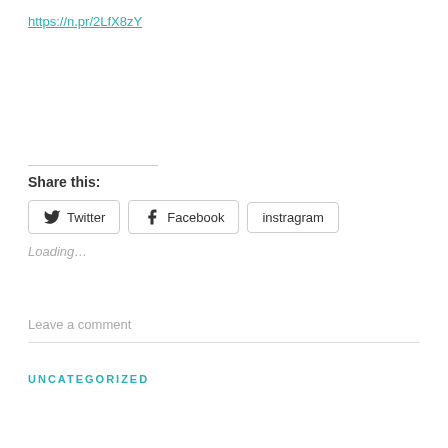https://n.pr/2LfX8zY
Share this:
Twitter  Facebook  instragram
Loading…
Leave a comment
UNCATEGORIZED